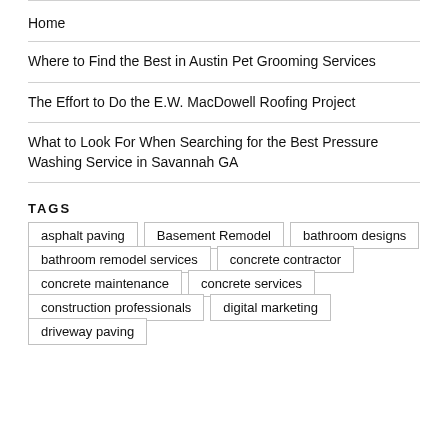Home
Where to Find the Best in Austin Pet Grooming Services
The Effort to Do the E.W. MacDowell Roofing Project
What to Look For When Searching for the Best Pressure Washing Service in Savannah GA
TAGS
asphalt paving
Basement Remodel
bathroom designs
bathroom remodel services
concrete contractor
concrete maintenance
concrete services
construction professionals
digital marketing
driveway paving